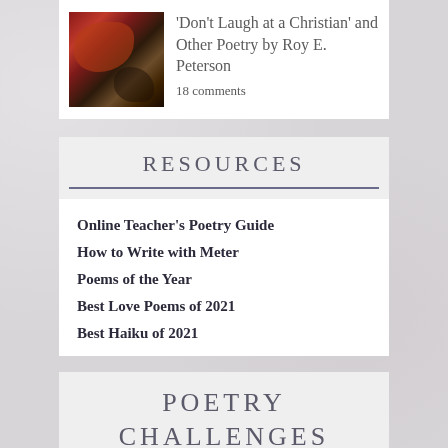[Figure (illustration): A dark dramatic painting showing a battle or historical scene with red and dark brown tones]
'Don't Laugh at a Christian' and Other Poetry by Roy E. Peterson
18 comments
RESOURCES
Online Teacher's Poetry Guide
How to Write with Meter
Poems of the Year
Best Love Poems of 2021
Best Haiku of 2021
POETRY CHALLENGES